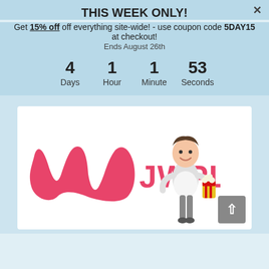THIS WEEK ONLY!
Get 15% off off everything site-wide! - use coupon code 5DAY15 at checkout!
Ends August 26th
4 Days  1 Hour  1 Minute  53 Seconds
[Figure (logo): JW Player logo with stylized W in pink/red and text JWPLAYER, alongside a cartoon character holding popcorn]